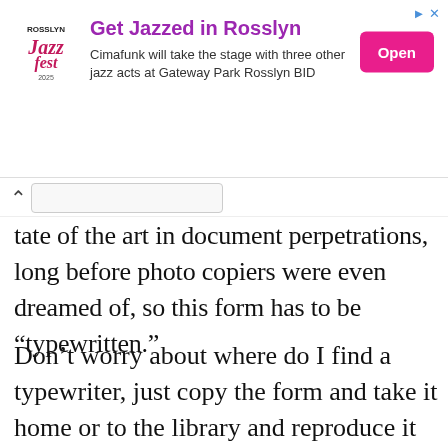[Figure (other): Advertisement banner for Rosslyn JazzFest. Shows logo with 'ROSSLYN Jazzfest', heading 'Get Jazzed in Rosslyn', body text 'Cimafunk will take the stage with three other jazz acts at Gateway Park Rosslyn BID', and a pink 'Open' button. Navigation/ad icons in top right.]
State of the art in document perpetrations, long before photo copiers were even dreamed of, so this form has to be “typewritten.”
Don’t worry about where do I find a typewriter, just copy the form and take it home or to the library and reproduce it on a computer with the right data inserted.